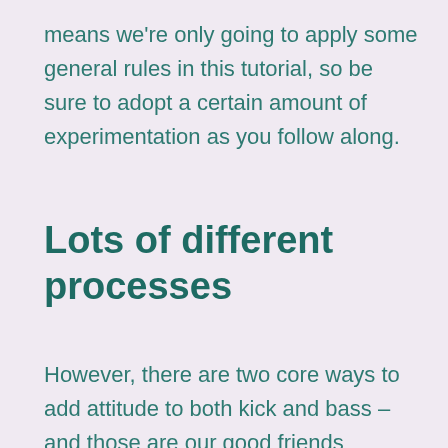means we're only going to apply some general rules in this tutorial, so be sure to adopt a certain amount of experimentation as you follow along.
Lots of different processes
However, there are two core ways to add attitude to both kick and bass – and those are our good friends compression and EQ. While you could easily pile on several different types of effect to do the same – most notably distortion and filtering – we're saving those until next time around. This